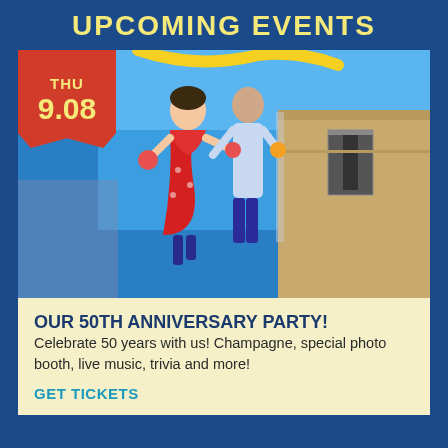UPCOMING EVENTS
[Figure (infographic): Date badge showing THU 9.08 in red with ticket-stub bottom, overlaid on a photo of a building mural depicting two dancers (woman in red dress, man in blue pants) on a building facade against a blue sky.]
OUR 50TH ANNIVERSARY PARTY!
Celebrate 50 years with us! Champagne, special photo booth, live music, trivia and more!
GET TICKETS